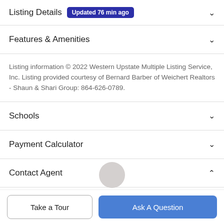Listing Details Updated 76 min ago
Features & Amenities
Listing information © 2022 Western Upstate Multiple Listing Service, Inc. Listing provided courtesy of Bernard Barber of Weichert Realtors - Shaun & Shari Group: 864-626-0789.
Schools
Payment Calculator
Contact Agent
Take a Tour
Ask A Question